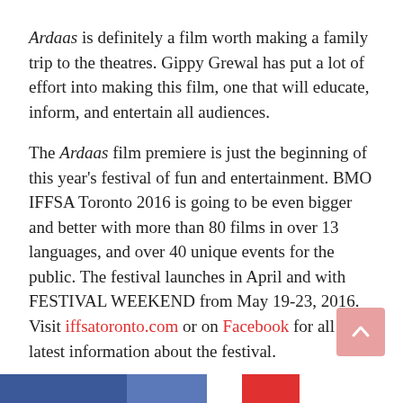Ardaas is definitely a film worth making a family trip to the theatres. Gippy Grewal has put a lot of effort into making this film, one that will educate, inform, and entertain all audiences.
The Ardaas film premiere is just the beginning of this year's festival of fun and entertainment. BMO IFFSA Toronto 2016 is going to be even bigger and better with more than 80 films in over 13 languages, and over 40 unique events for the public. The festival launches in April and with FESTIVAL WEEKEND from May 19-23, 2016. Visit iffsatoronto.com or on Facebook for all the latest information about the festival.